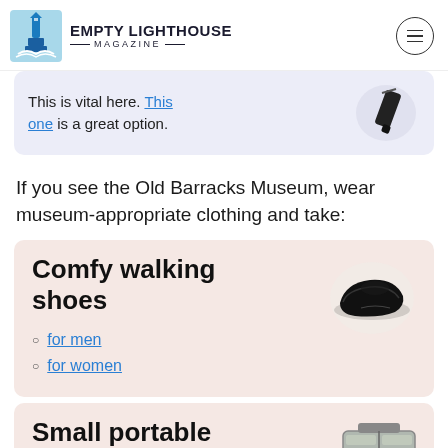EMPTY LIGHTHOUSE MAGAZINE
This is vital here. This one is a great option.
If you see the Old Barracks Museum, wear museum-appropriate clothing and take:
Comfy walking shoes
for men
for women
Small portable